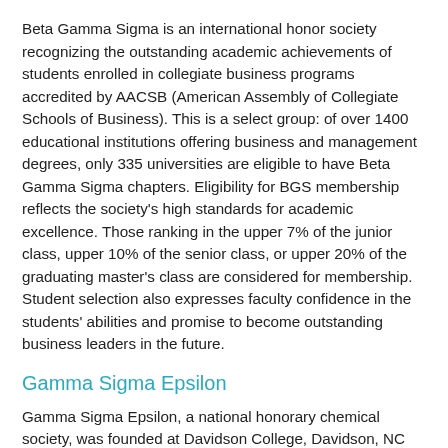Beta Gamma Sigma is an international honor society recognizing the outstanding academic achievements of students enrolled in collegiate business programs accredited by AACSB (American Assembly of Collegiate Schools of Business). This is a select group: of over 1400 educational institutions offering business and management degrees, only 335 universities are eligible to have Beta Gamma Sigma chapters. Eligibility for BGS membership reflects the society's high standards for academic excellence. Those ranking in the upper 7% of the junior class, upper 10% of the senior class, or upper 20% of the graduating master's class are considered for membership. Student selection also expresses faculty confidence in the students' abilities and promise to become outstanding business leaders in the future.
Gamma Sigma Epsilon
Gamma Sigma Epsilon, a national honorary chemical society, was founded at Davidson College, Davidson, NC on December 19, 1919. The society recognizes academic excellence in chemistry and fosters a more comprehensive and cooperative study of chemistry and related scientific disciplines. The organization now has 35 active chapters in 22 states, and is growing rapidly. The Alpha Epsilon chapter was established at UNCW in 2001. Eligibility